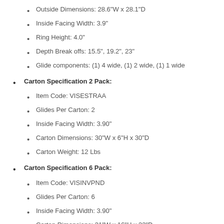Outside Dimensions: 28.6"W x 28.1"D
Inside Facing Width: 3.9"
Ring Height: 4.0"
Depth Break offs: 15.5", 19.2", 23"
Glide components: (1) 4 wide, (1) 2 wide, (1) 1 wide
Carton Specification 2 Pack:
Item Code: VISESTRAA
Glides Per Carton: 2
Inside Facing Width: 3.90"
Carton Dimensions: 30"W x 6"H x 30"D
Carton Weight: 12 Lbs
Carton Specification 6 Pack:
Item Code: VISINVPND
Glides Per Carton: 6
Inside Facing Width: 3.90"
Carton Dimensions: 31"W x 16"H x 33"D
Carton Weight: 27 Lbs